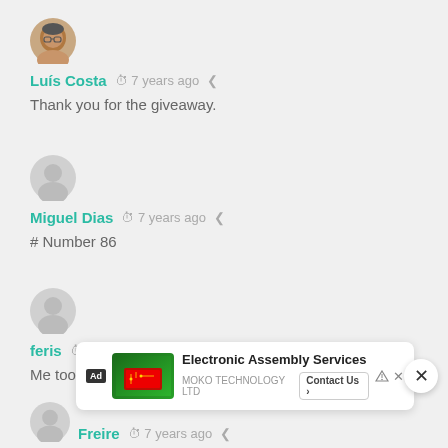[Figure (photo): User avatar photo of Luis Costa — circular profile photo of a man with glasses]
Luís Costa  7 years ago
Thank you for the giveaway.
[Figure (illustration): Generic gray user avatar placeholder circle]
Miguel Dias  7 years ago
# Number 86
[Figure (illustration): Generic gray user avatar placeholder circle]
feris  7 years ago
Me too.
[Figure (illustration): Generic gray user avatar placeholder circle for Freire]
Freire  7 years ago
[Figure (screenshot): Advertisement banner: Electronic Assembly Services - MOKO TECHNOLOGY LTD, Contact Us button]